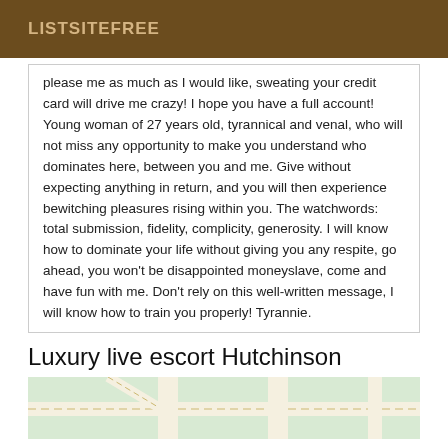LISTSITEFREE
please me as much as I would like, sweating your credit card will drive me crazy! I hope you have a full account! Young woman of 27 years old, tyrannical and venal, who will not miss any opportunity to make you understand who dominates here, between you and me. Give without expecting anything in return, and you will then experience bewitching pleasures rising within you. The watchwords: total submission, fidelity, complicity, generosity. I will know how to dominate your life without giving you any respite, go ahead, you won't be disappointed moneyslave, come and have fun with me. Don't rely on this well-written message, I will know how to train you properly! Tyrannie.
Luxury live escort Hutchinson
[Figure (map): Street map showing road intersections near Hutchinson]